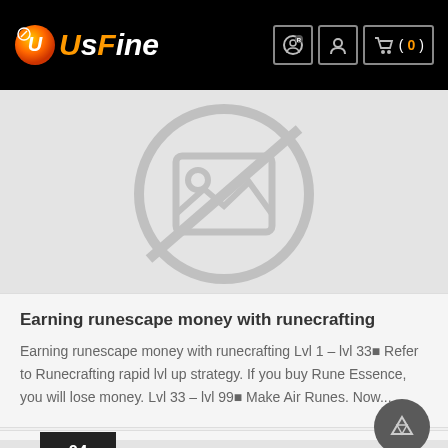UsFine - navigation header with logo and cart icon showing (0) items
[Figure (illustration): Cropped image placeholder with no-image symbol (greyed out circle with diagonal slash and image icon)]
Earning runescape money with runecrafting
Earning runescape money with runecrafting Lvl 1 – lvl 33⬛ Refer to Runecrafting rapid lvl up strategy. If you buy Rune Essence, you will lose money. Lvl 33 – lvl 99⬛ Make Air Runes. Now...
[Figure (illustration): Partially visible image placeholder with no-image symbol at bottom of page with date badge showing 04 Oct]